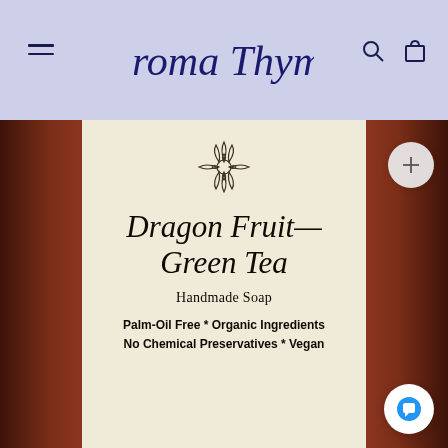Aroma Thyme
[Figure (photo): Close-up photo of a handmade soap product label on beige textured paper, surrounded by dark red/maroon soap. The label shows a lotus flower illustration and cursive text reading 'Dragon Fruit Green Tea Handmade Soap, Palm-Oil Free * Organic Ingredients, No Chemical Preservatives * Vegan']
Dragon Fruit Green Tea
Handmade Soap
Palm-Oil Free * Organic Ingredients No Chemical Preservatives * Vegan